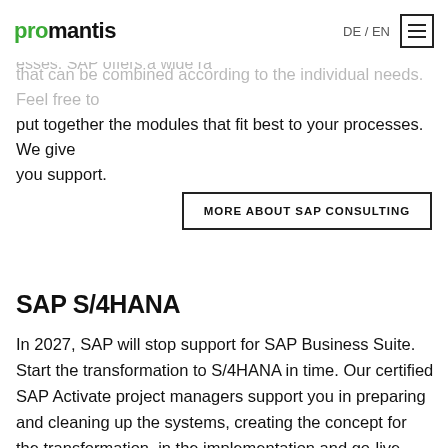promantis | DE / EN
Resource Planning) in order to efficiently and comprehensively … esses. SAP offers a wide ra… that can be combined according to the individual needs. Feel free to put together the modules that fit best to your processes. We give you support.
MORE ABOUT SAP CONSULTING
SAP S/4HANA
In 2027, SAP will stop support for SAP Business Suite. Start the transformation to S/4HANA in time. Our certified SAP Activate project managers support you in preparing and cleaning up the systems, creating the concept for the transformation, in the implementation and go-live.